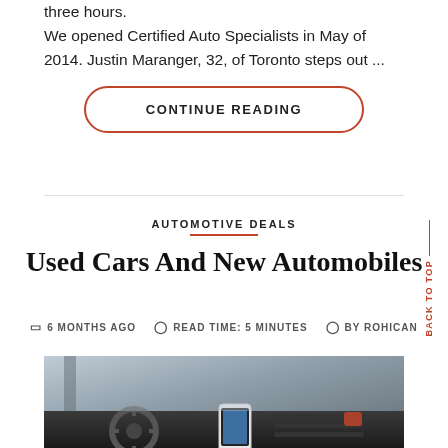three hours. We opened Certified Auto Specialists in May of 2014. Justin Maranger, 32, of Toronto steps out ...
CONTINUE READING
AUTOMOTIVE DEALS
Used Cars And New Automobiles
6 MONTHS AGO   READ TIME: 5 MINUTES   BY ROHICAN
[Figure (photo): Interior of a car dashboard showing steering wheel and phone mount with smartphone]